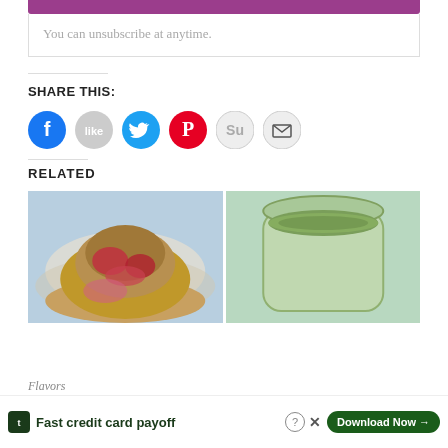You can unsubscribe at anytime.
SHARE THIS:
[Figure (infographic): Social share buttons: Facebook (blue circle), Like (gray circle), Twitter (cyan circle), Pinterest (red circle), StumbleUpon (light gray circle), Email (light gray circle with envelope icon)]
RELATED
[Figure (photo): A muffin split open on a plate revealing raspberry filling, on a blue floral background]
[Figure (photo): A green smoothie or sauce in a glass jar on a blue floral background]
Flavors
Fast credit card payoff
Download Now →